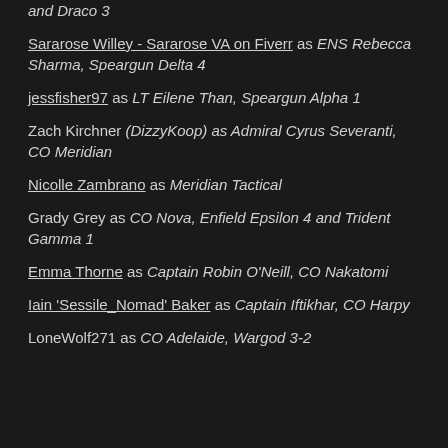and Draco 3
Sararose Willey - Sararose VA on Fiverr as ENS Rebecca Sharma, Speargun Delta 4
jessfisher97 as LT Eilene Than, Speargun Alpha 1
Zach Kirchner (DizzyKoop) as Admiral Cyrus Severanti, CO Meridian
Nicolle Zambrano as Meridian Tactical
Grady Grey as CO Nova, Enfield Epsilon 4 and Trident Gamma 1
Emma Thorne as Captain Robin O'Neill, CO Nakatomi
Iain 'Sessile_Nomad' Baker as Captain Iftikhar, CO Harpy
LoneWolf271 as CO Adelaide, Wargod 3-2